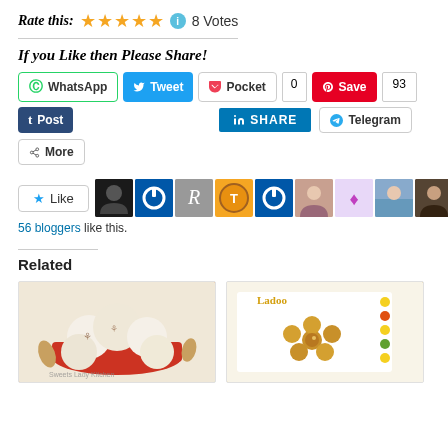Rate this: ★★★★★ ℹ 8 Votes
If you Like then Please Share!
[Figure (screenshot): Social share buttons: WhatsApp, Tweet, Pocket (0), Save (93), Post (Tumblr), LinkedIn Share, Telegram, More]
[Figure (screenshot): Like button and row of blogger avatar icons; 56 bloggers like this.]
56 bloggers like this.
Related
[Figure (photo): Round white coconut/almond ladoo balls in a red bowl with almonds, food blog photo]
[Figure (photo): Flower-shaped golden ladoo on white background, labeled Ladoo]